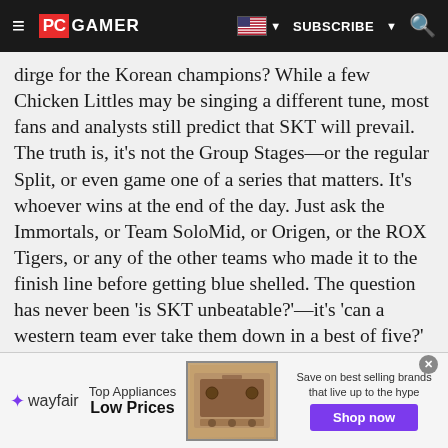PC GAMER | SUBSCRIBE
dirge for the Korean champions? While a few Chicken Littles may be singing a different tune, most fans and analysts still predict that SKT will prevail. The truth is, it's not the Group Stages—or the regular Split, or even game one of a series that matters. It's whoever wins at the end of the day. Just ask the Immortals, or Team SoloMid, or Origen, or the ROX Tigers, or any of the other teams who made it to the finish line before getting blue shelled. The question has never been 'is SKT unbeatable?'—it's 'can a western team ever take them down in a best of five?' The answer to that is uncertain, but SKT is going to be heading into the second stage of MSI fresh as a daisy and determined to take it all.
[Figure (screenshot): Wayfair advertisement banner with stove image, Top Appliances Low Prices text, and Shop now button]